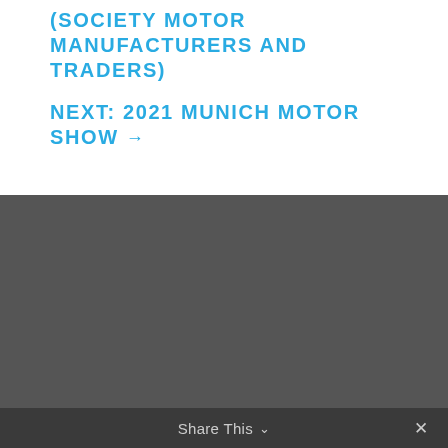(SOCIETY MOTOR MANUFACTURERS AND TRADERS)
NEXT: 2021 MUNICH MOTOR SHOW →
[Figure (photo): Dark gray background section, appearing to be a placeholder or image area]
Share This ∨   ✕